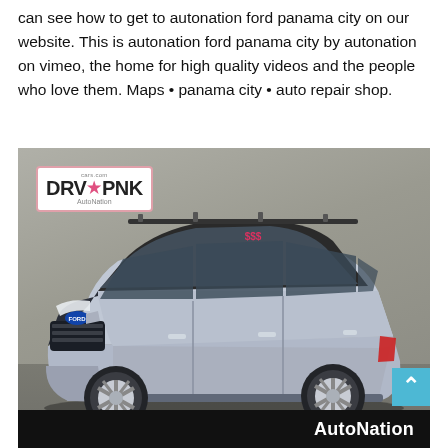can see how to get to autonation ford panama city on our website. This is autonation ford panama city by autonation on vimeo, the home for high quality videos and the people who love them. Maps • panama city • auto repair shop.
[Figure (photo): Photo of a silver Ford Explorer SUV in a dealership showroom. The DRV PNK AutoNation badge is visible in the top-left corner of the image. The AutoNation logo appears in a black bar at the bottom of the image. A cyan scroll-to-top button is in the bottom-right corner.]